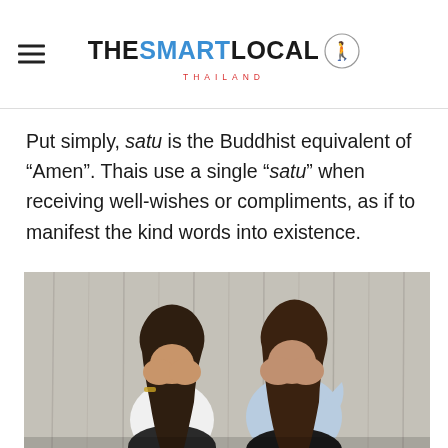THE SMART LOCAL THAILAND
Put simply, satu is the Buddhist equivalent of “Amen”. Thais use a single “satu” when receiving well-wishes or compliments, as if to manifest the kind words into existence.
[Figure (photo): Two young women with long dark hair sitting against a light wooden wall, both covering their faces with their hands. One wears a light blue shirt, the other a white shirt with a bracelet.]